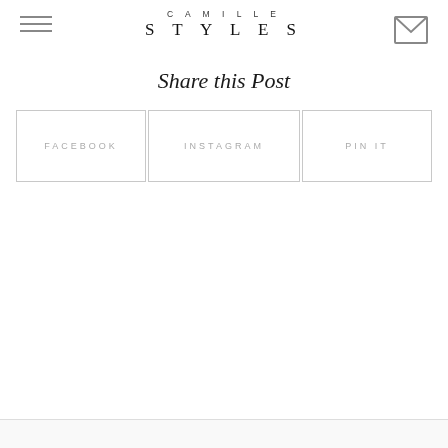CAMILLE STYLES
Share this Post
FACEBOOK
INSTAGRAM
PIN IT